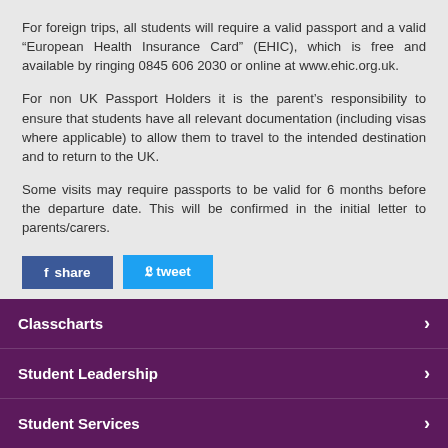For foreign trips, all students will require a valid passport and a valid “European Health Insurance Card” (EHIC), which is free and available by ringing 0845 606 2030 or online at www.ehic.org.uk.
For non UK Passport Holders it is the parent’s responsibility to ensure that students have all relevant documentation (including visas where applicable) to allow them to travel to the intended destination and to return to the UK.
Some visits may require passports to be valid for 6 months before the departure date. This will be confirmed in the initial letter to parents/carers.
Students
Classcharts
Student Leadership
Student Services